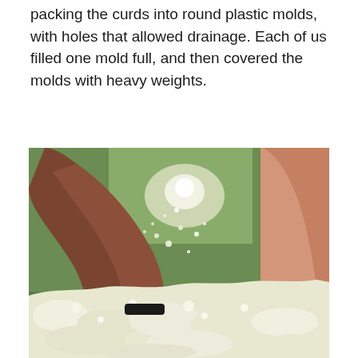packing the curds into round plastic molds, with holes that allowed drainage. Each of us filled one mold full, and then covered the molds with heavy weights.
[Figure (photo): Two people's hands packing or pressing white cheese curds into a container. The hands are working with crumbly, fresh white curd material. The background shows a green container or bucket. One hand appears to be pressing down on the curds while particles fly in the air.]